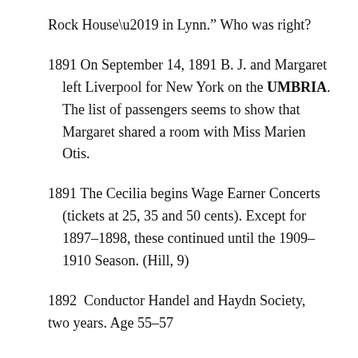Rock House’ in Lynn.” Who was right?
1891 On September 14, 1891 B. J. and Margaret left Liverpool for New York on the UMBRIA. The list of passengers seems to show that Margaret shared a room with Miss Marien Otis.
1891 The Cecilia begins Wage Earner Concerts (tickets at 25, 35 and 50 cents). Except for 1897–1898, these continued until the 1909–1910 Season. (Hill, 9)
1892  Conductor Handel and Haydn Society, two years. Age 55–57